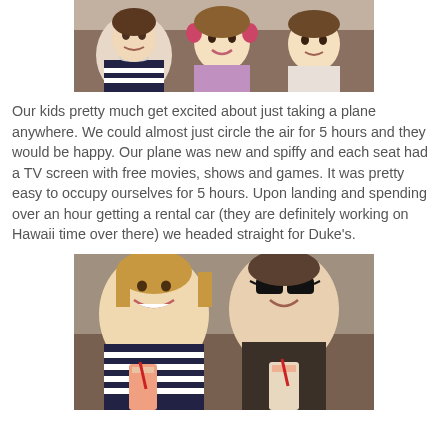[Figure (photo): Family photo on an airplane: a woman in a striped shirt, a young girl with pink headphones smiling, and another child to the right]
Our kids pretty much get excited about just taking a plane anywhere. We could almost just circle the air for 5 hours and they would be happy. Our plane was new and spiffy and each seat had a TV screen with free movies, shows and games. It was pretty easy to occupy ourselves for 5 hours. Upon landing and spending over an hour getting a rental car (they are definitely working on Hawaii time over there) we headed straight for Duke's.
[Figure (photo): A couple at a restaurant, smiling and holding drinks with red straws. The woman is in a striped top and the man is wearing sunglasses.]